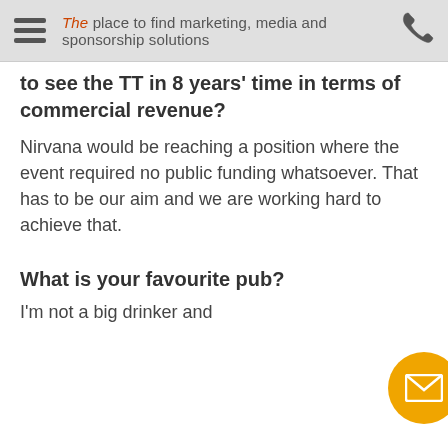The place to find marketing, media and sponsorship solutions
to see the TT in 8 years' time in terms of commercial revenue?
Nirvana would be reaching a position where the event required no public funding whatsoever. That has to be our aim and we are working hard to achieve that.
What is your favourite pub?
I'm not a big drinker and